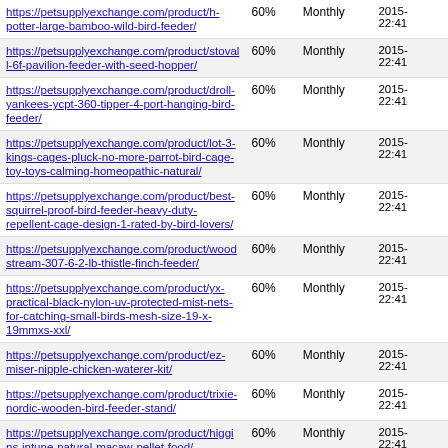| URL | Priority | Change Frequency | Last Modified |
| --- | --- | --- | --- |
| https://petsupplyexchange.com/product/h-potter-large-bamboo-wild-bird-feeder/ | 60% | Monthly | 2015-
22:41 |
| https://petsupplyexchange.com/product/stovall-6f-pavilion-feeder-with-seed-hopper/ | 60% | Monthly | 2015-
22:41 |
| https://petsupplyexchange.com/product/droll-yankees-ycpt-360-tipper-4-port-hanging-bird-feeder/ | 60% | Monthly | 2015-
22:41 |
| https://petsupplyexchange.com/product/lot-3-kings-cages-pluck-no-more-parrot-bird-cage-toy-toys-calming-homeopathic-natural/ | 60% | Monthly | 2015-
22:41 |
| https://petsupplyexchange.com/product/best-squirrel-proof-bird-feeder-heavy-duty-repellent-cage-design-1-rated-by-bird-lovers/ | 60% | Monthly | 2015-
22:41 |
| https://petsupplyexchange.com/product/woodstream-307-6-2-lb-thistle-finch-feeder/ | 60% | Monthly | 2015-
22:41 |
| https://petsupplyexchange.com/product/yx-practical-black-nylon-uv-protected-mist-nets-for-catching-small-birds-mesh-size-19-x-19mmxs-xxl/ | 60% | Monthly | 2015-
22:41 |
| https://petsupplyexchange.com/product/ez-miser-nipple-chicken-waterer-kit/ | 60% | Monthly | 2015-
22:41 |
| https://petsupplyexchange.com/product/trixie-nordic-wooden-bird-feeder-stand/ | 60% | Monthly | 2015-
22:41 |
| https://petsupplyexchange.com/product/higgins-intune-natural-macaw-pellet-food/ | 60% | Monthly | 2015-
22:41 |
| https://petsupplyexchange.com/product/trixie-deluxe-wooden-bird-feeder-gazebo-stand/ | 60% | Monthly | 2015-
22:41 |
| https://petsupplyexchange.com/product/trixie-wooden-bird-feeder-stand/ | 60% | Monthly | 2015-
22:41 |
| https://petsupplyexchange.com/product/vivipet-cat-dining-table-15-tilted-platform-pet-feeder -solid-pine-stand-with-ceramic-bowls-elevated-cat-feeder-raised-cat-bowl-mykonos-collection/ | 60% | Monthly | 2015-
22:41 |
| https://petsupplyexchange.com/product/so-tiel-sm-anim-carrier-100cs/ | 60% | Monthly | 2015-
22:40 |